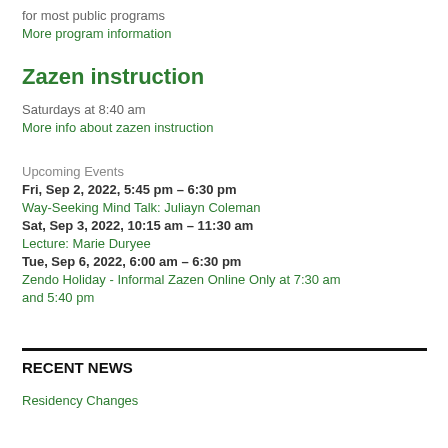for most public programs
More program information
Zazen instruction
Saturdays at 8:40 am
More info about zazen instruction
Upcoming Events
Fri, Sep 2, 2022, 5:45 pm – 6:30 pm
Way-Seeking Mind Talk: Juliayn Coleman
Sat, Sep 3, 2022, 10:15 am – 11:30 am
Lecture: Marie Duryee
Tue, Sep 6, 2022, 6:00 am – 6:30 pm
Zendo Holiday - Informal Zazen Online Only at 7:30 am and 5:40 pm
RECENT NEWS
Residency Changes